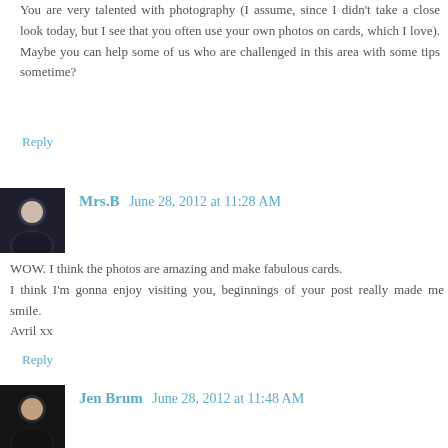You are very talented with photography (I assume, since I didn't take a close look today, but I see that you often use your own photos on cards, which I love). Maybe you can help some of us who are challenged in this area with some tips sometime?
Reply
Mrs.B  June 28, 2012 at 11:28 AM
WOW. I think the photos are amazing and make fabulous cards.
I think I'm gonna enjoy visiting you, beginnings of your post really made me smile.
Avril xx
Reply
Jen Brum  June 28, 2012 at 11:48 AM
Wow! Those are beautiful photos! Every time one of my boys (3 and 6) see a dragonfly or butterfly they scream at me to get my camera because what they've seen is sooo